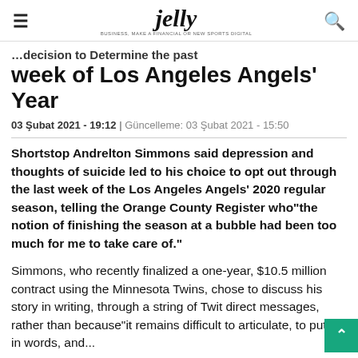jelly
…decision to Determine the past week of Los Angeles Angels' Year
03 Şubat 2021 - 19:12 | Güncelleme: 03 Şubat 2021 - 15:50
Shortstop Andrelton Simmons said depression and thoughts of suicide led to his choice to opt out through the last week of the Los Angeles Angels' 2020 regular season, telling the Orange County Register who"the notion of finishing the season at a bubble had been too much for me to take care of."
Simmons, who recently finalized a one-year, $10.5 million contract using the Minnesota Twins, chose to discuss his story in writing, through a string of Twit direct messages, rather than because"it remains difficult to articulate, to put it in words, and...